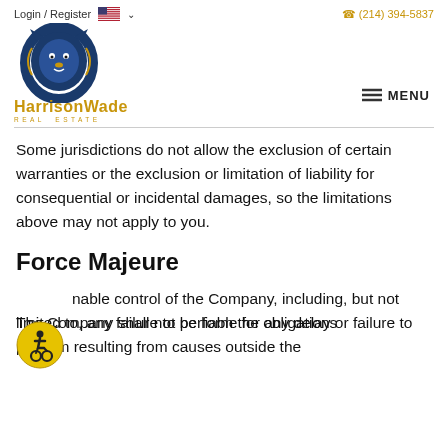Login / Register  (214) 394-5837
[Figure (logo): Harrison Wade Real Estate logo with lion illustration]
Some jurisdictions do not allow the exclusion of certain warranties or the exclusion or limitation of liability for consequential or incidental damages, so the limitations above may not apply to you.
Force Majeure
The Company shall not be liable for any delay or failure to perform resulting from causes outside the reasonable control of the Company, including, but not limited to, any failure to perform the obligations